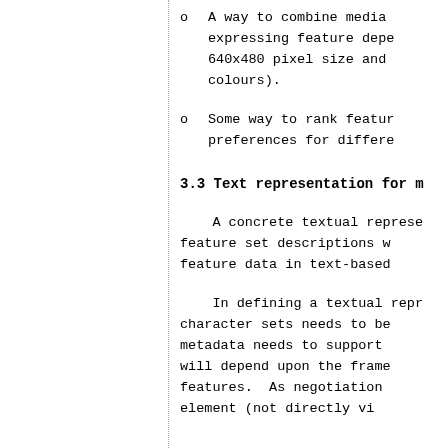A way to combine media expressing feature dependencies (e.g., 640x480 pixel size and 24-bit colours).
Some way to rank features, expressing preferences for different features.
3.3 Text representation for m
A concrete textual representation for feature set descriptions which include feature data in text-based...
In defining a textual representation, character sets needs to be... metadata needs to support... will depend upon the frame... features. As negotiation... element (not directly vi...